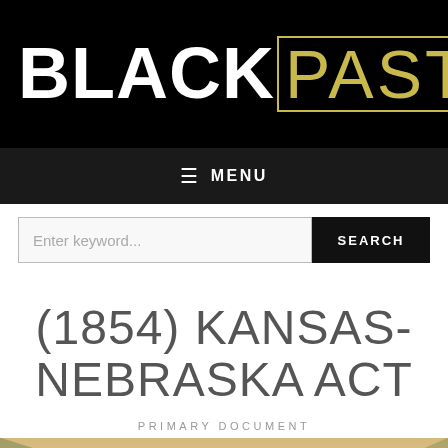[Figure (logo): BlackPast logo — 'BLACK' in white bold letters, 'PAST' in gold outlined letters on black background]
☰ MENU
Enter keyword...
SEARCH
(1854) KANSAS-NEBRASKA ACT
PRIMARY DOCUMENT
[Figure (map): Partial map showing British North America label at the bottom of the page]